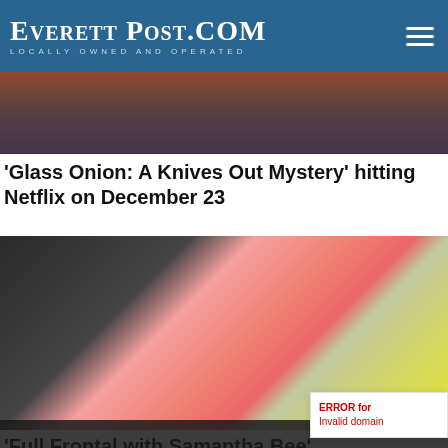EverettPost.com — Locally Owned and Operated
[Figure (photo): Partial image at top of page, dark tones]
'Glass Onion: A Knives Out Mystery' hitting Netflix on December 23
[Figure (photo): Woman in pink blazer standing in front of abstract black and white and yellow artwork — Samantha Bee]
'Full Frontal with Samantha Bee' canceled by TBS
[Figure (photo): Dark image at bottom of page]
ERROR for site owner: Invalid domain for site key